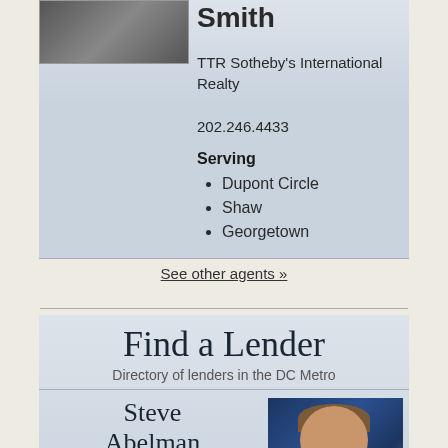[Figure (photo): Partial photo of agent Smith at TTR Sotheby's International Realty]
Smith
TTR Sotheby's International Realty
202.246.4433
Serving
Dupont Circle
Shaw
Georgetown
See other agents »
Find a Lender
Directory of lenders in the DC Metro
Steve Abelman
BB&T Bank (now Truist)
[Figure (photo): Professional headshot of Steve Abelman, smiling man in dark suit with orange tie against dark blue background]